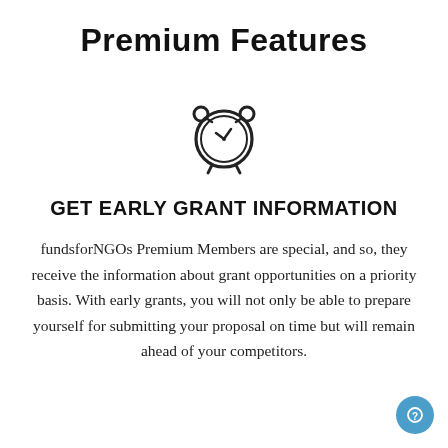Premium Features
[Figure (illustration): Alarm clock icon — a simple line-art alarm clock with a clock face showing approximately 10:10, two bells on top, and two feet at the bottom.]
GET EARLY GRANT INFORMATION
fundsforNGOs Premium Members are special, and so, they receive the information about grant opportunities on a priority basis. With early grants, you will not only be able to prepare yourself for submitting your proposal on time but will remain ahead of your competitors.